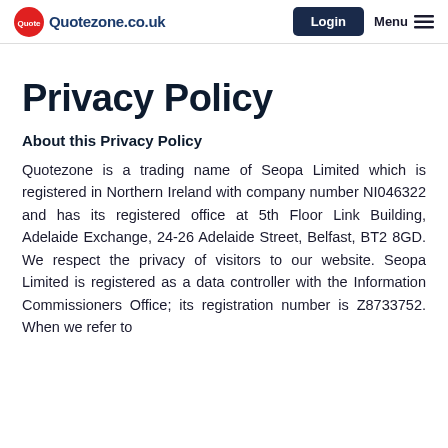Quotezone.co.uk | Login | Menu
Privacy Policy
About this Privacy Policy
Quotezone is a trading name of Seopa Limited which is registered in Northern Ireland with company number NI046322 and has its registered office at 5th Floor Link Building, Adelaide Exchange, 24-26 Adelaide Street, Belfast, BT2 8GD. We respect the privacy of visitors to our website. Seopa Limited is registered as a data controller with the Information Commissioners Office; its registration number is Z8733752. When we refer to